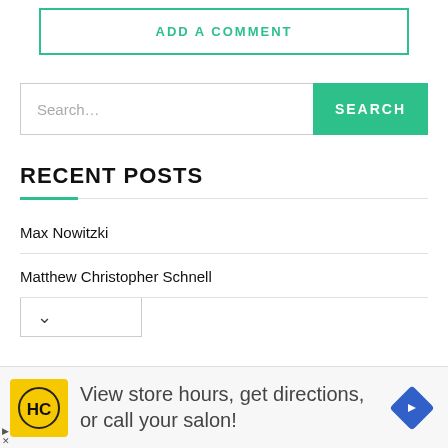ADD A COMMENT
Search...
RECENT POSTS
Max Nowitzki
Matthew Christopher Schnell
[Figure (infographic): Advertisement banner: HC logo (yellow background), text 'View store hours, get directions, or call your salon!', blue navigation diamond icon. Arrow and X close icons at bottom-left.]